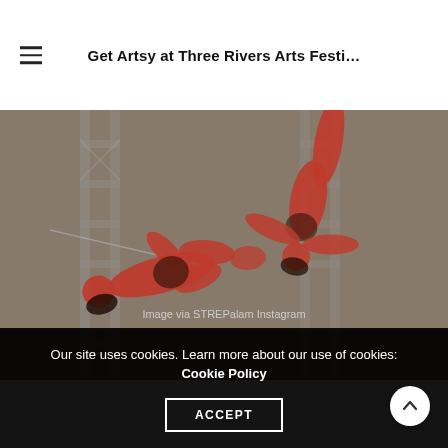Get Artsy at Three Rivers Arts Festi…
[Figure (photo): Two acrobats in red bodysuits performing an aerial acrobatic act on an outdoor stage with metal scaffolding/truss structure in the background. One performer is inverted/upside down while the other is horizontal.]
Image via STREPalam Instagram
Our site uses cookies. Learn more about our use of cookies: Cookie Policy
ACCEPT